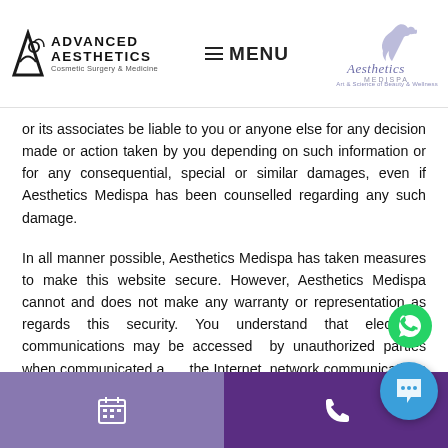Advanced Aesthetics Cosmetic Surgery & Medicine | MENU | Aesthetics Medispa - Art & Science of Beauty & Wellness
or its associates be liable to you or anyone else for any decision made or action taken by you depending on such information or for any consequential, special or similar damages, even if Aesthetics Medispa has been counselled regarding any such damage.
In all manner possible, Aesthetics Medispa has taken measures to make this website secure. However, Aesthetics Medispa cannot and does not make any warranty or representation as regards this security. You understand that electronic communications may be accessed by unauthorized parties when communicated across the Internet, network communications fac...
Calendar icon | Phone icon